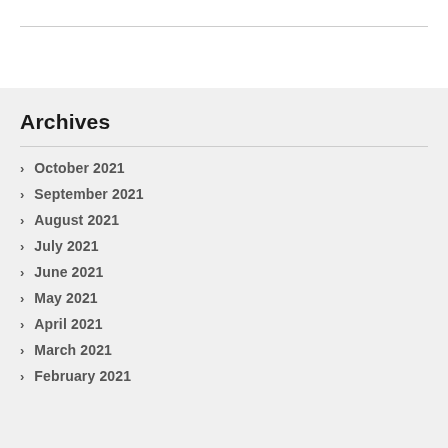Archives
October 2021
September 2021
August 2021
July 2021
June 2021
May 2021
April 2021
March 2021
February 2021